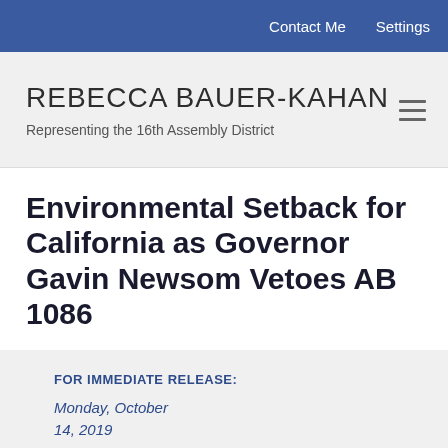Contact Me   Settings
REBECCA BAUER-KAHAN
Representing the 16th Assembly District
Environmental Setback for California as Governor Gavin Newsom Vetoes AB 1086
FOR IMMEDIATE RELEASE:
Monday, October 14, 2019